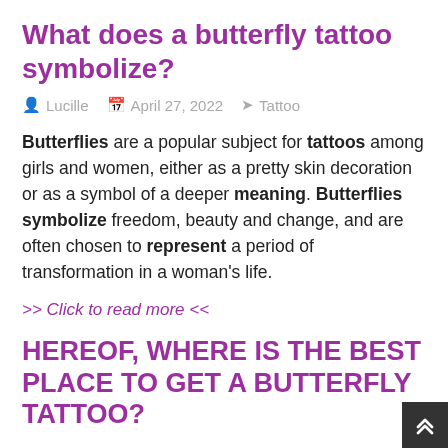What does a butterfly tattoo symbolize?
Lucille   April 27, 2022   Tattoo
Butterflies are a popular subject for tattoos among girls and women, either as a pretty skin decoration or as a symbol of a deeper meaning. Butterflies symbolize freedom, beauty and change, and are often chosen to represent a period of transformation in a woman's life.
>> Click to read more <<
HEREOF, WHERE IS THE BEST PLACE TO GET A BUTTERFLY TATTOO?